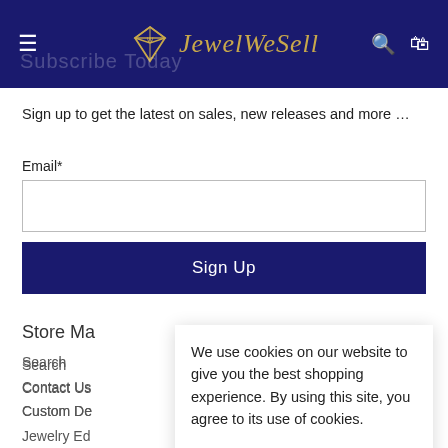JewelWeSell
Subscribe Today
Sign up to get the latest on sales, new releases and more …
Email*
Sign Up
Store Ma
Search
Contact Us
Custom De
Jewelry Ed
Store Polici
Getting to
Shipping P
We use cookies on our website to give you the best shopping experience. By using this site, you agree to its use of cookies.
I agree